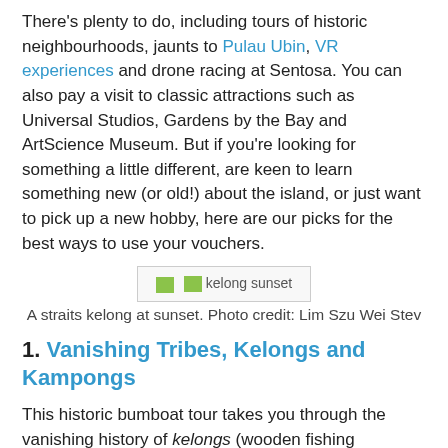There's plenty to do, including tours of historic neighbourhoods, jaunts to Pulau Ubin, VR experiences and drone racing at Sentosa. You can also pay a visit to classic attractions such as Universal Studios, Gardens by the Bay and ArtScience Museum. But if you're looking for something a little different, are keen to learn something new (or old!) about the island, or just want to pick up a new hobby, here are our picks for the best ways to use your vouchers.
[Figure (photo): Image placeholder showing 'kelong sunset' — a straits kelong at sunset]
A straits kelong at sunset. Photo credit: Lim Szu Wei Stev
1. Vanishing Tribes, Kelongs and Kampongs
This historic bumboat tour takes you through the vanishing history of kelongs (wooden fishing platforms) on the Straits of Johor, which are traditionally found in Malay fishing communities. They're a vital part of local history and a disappearing sight in Singapore. Get acquainted with the